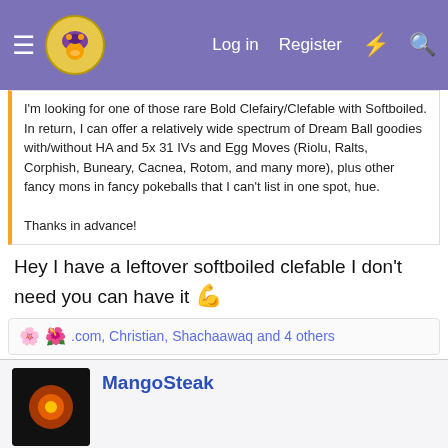Log in  Register
I'm looking for one of those rare Bold Clefairy/Clefable with Softboiled. In return, I can offer a relatively wide spectrum of Dream Ball goodies with/without HA and 5x 31 IVs and Egg Moves (Riolu, Ralts, Corphish, Buneary, Cacnea, Rotom, and many more), plus other fancy mons in fancy pokeballs that I can't list in one spot, hue.

Thanks in advance!
Hey I have a leftover softboiled clefable I don't need you can have it 💪
.com, Christian, Shachaawaq and 4 others
MangoSteak
Oct 31, 2019
#4,475
Does anyone have a timid hidden power Fighting Latias?